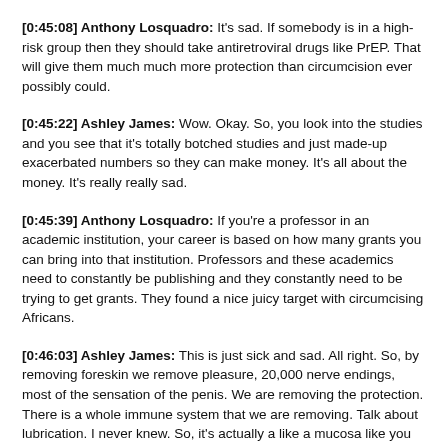[0:45:08] Anthony Losquadro: It's sad. If somebody is in a high-risk group then they should take antiretroviral drugs like PrEP. That will give them much much more protection than circumcision ever possibly could.
[0:45:22] Ashley James: Wow. Okay. So, you look into the studies and you see that it's totally botched studies and just made-up exacerbated numbers so they can make money. It's all about the money. It's really really sad.
[0:45:39] Anthony Losquadro: If you're a professor in an academic institution, your career is based on how many grants you can bring into that institution. Professors and these academics need to constantly be publishing and they constantly need to be trying to get grants. They found a nice juicy target with circumcising Africans.
[0:46:03] Ashley James: This is just sick and sad. All right. So, by removing foreskin we remove pleasure, 20,000 nerve endings, most of the sensation of the penis. We are removing the protection. There is a whole immune system that we are removing. Talk about lubrication. I never knew. So, it's actually a like a mucosa like you said it's almost like an eyelid where it's like a kind of mucosa tissue?